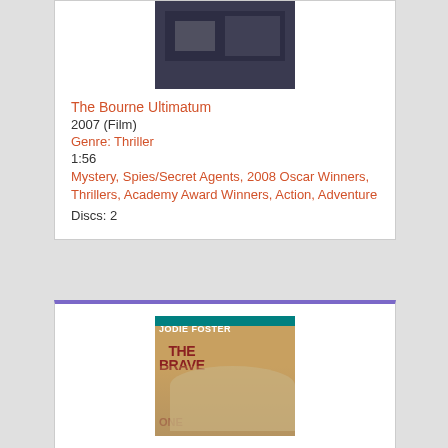[Figure (photo): Movie cover/thumbnail for The Bourne Ultimatum, dark toned image]
The Bourne Ultimatum
2007 (Film)
Genre: Thriller
1:56
Mystery, Spies/Secret Agents, 2008 Oscar Winners, Thrillers, Academy Award Winners, Action, Adventure
Discs: 2
[Figure (photo): Movie cover for The Brave One starring Jodie Foster, Blu-ray edition]